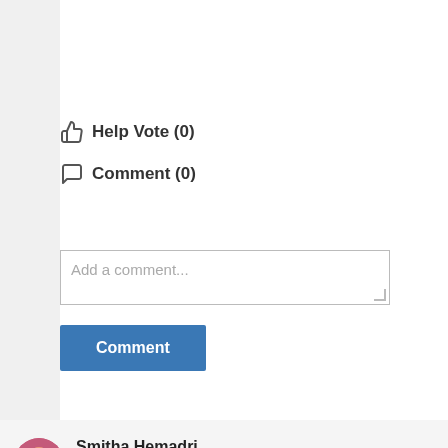👍 Help Vote (0)
💬 Comment (0)
Add a comment...
Comment
Smitha Hemadri
Natural Healing - Leader & Influencer
01:01 PM | 07-10-2019
Any skin issues are because the body could not eliminate using its natural path and the